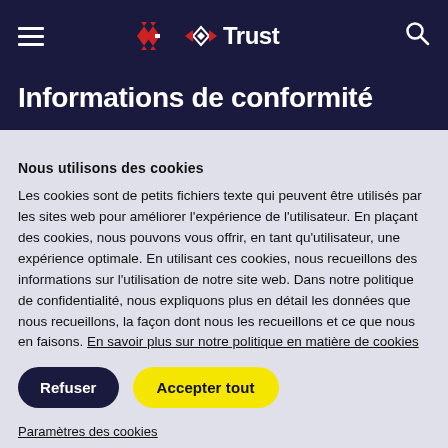Trust
Informations de conformité
Nous utilisons des cookies
Les cookies sont de petits fichiers texte qui peuvent être utilisés par les sites web pour améliorer l'expérience de l'utilisateur. En plaçant des cookies, nous pouvons vous offrir, en tant qu'utilisateur, une expérience optimale. En utilisant ces cookies, nous recueillons des informations sur l'utilisation de notre site web. Dans notre politique de confidentialité, nous expliquons plus en détail les données que nous recueillons, la façon dont nous les recueillons et ce que nous en faisons. En savoir plus sur notre politique en matière de cookies
Refuser | Accepter tout
Paramètres des cookies